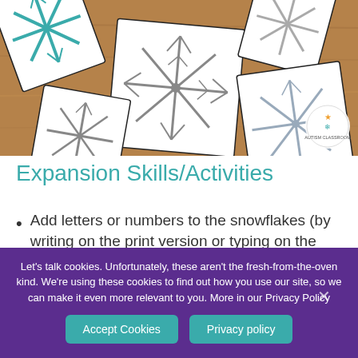[Figure (photo): Snowflake cards scattered on a wooden table surface, with blue/teal and grey snowflake illustrations printed on white cards. A small circular logo is visible in the lower right corner of the image.]
Expansion Skills/Activities
Add letters or numbers to the snowflakes (by writing on the print version or typing on the virtual version (and grouping each snowflake with the
Let’s talk cookies. Unfortunately, these aren’t the fresh-from-the-oven kind. We’re using these cookies to find out how you use our site, so we can make it even more relevant to you. More in our Privacy Policy